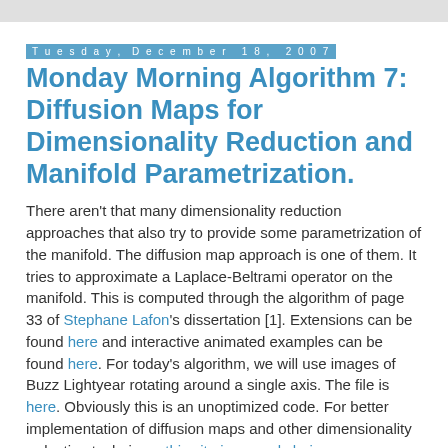Tuesday, December 18, 2007
Monday Morning Algorithm 7: Diffusion Maps for Dimensionality Reduction and Manifold Parametrization.
There aren't that many dimensionality reduction approaches that also try to provide some parametrization of the manifold. The diffusion map approach is one of them. It tries to approximate a Laplace-Beltrami operator on the manifold. This is computed through the algorithm of page 33 of Stephane Lafon's dissertation [1]. Extensions can be found here and interactive animated examples can be found here. For today's algorithm, we will use images of Buzz Lightyear rotating around a single axis. The file is here. Obviously this is an unoptimized code. For better implementation of diffusion maps and other dimensionality reduction technique, this site is a good choice .
What do we do here ? we first compute the inter distance